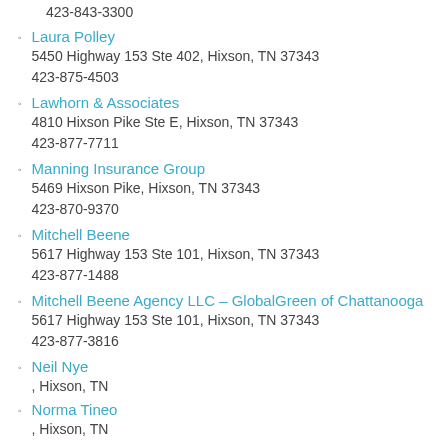423-843-3300
Laura Polley
5450 Highway 153 Ste 402, Hixson, TN 37343
423-875-4503
Lawhorn & Associates
4810 Hixson Pike Ste E, Hixson, TN 37343
423-877-7711
Manning Insurance Group
5469 Hixson Pike, Hixson, TN 37343
423-870-9370
Mitchell Beene
5617 Highway 153 Ste 101, Hixson, TN 37343
423-877-1488
Mitchell Beene Agency LLC – GlobalGreen of Chattanooga
5617 Highway 153 Ste 101, Hixson, TN 37343
423-877-3816
Neil Nye
, Hixson, TN
Norma Tineo
, Hixson, TN